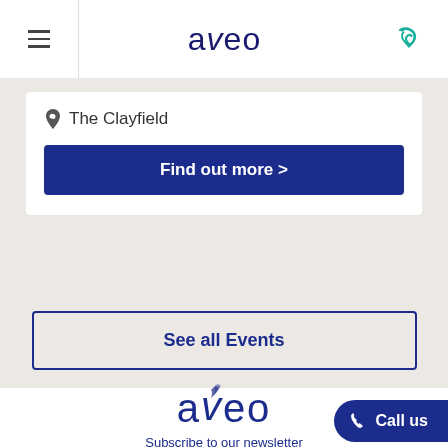aveo
The Clayfield
Find out more >
See all Events
[Figure (logo): Aveo logo with decorative leaf pattern on the v]
Subscribe to our newsletter
Call us